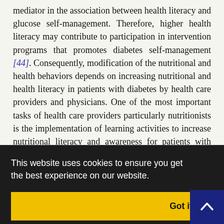mediator in the association between health literacy and glucose self-management. Therefore, higher health literacy may contribute to participation in intervention programs that promotes diabetes self-management [44]. Consequently, modification of the nutritional and health behaviors depends on increasing nutritional and health literacy in patients with diabetes by health care providers and physicians. One of the most important tasks of health care providers particularly nutritionists is the implementation of learning activities to increase nutritional literacy and awareness for patients with DM who have low literacy. Diabetes self-management activities must be directed to improve behaviors such as selecting healthy foods, identifying food restrictions and prohibitions, understanding serving sizes, planning a meal based on the exchange method, having appropriate dietary
ers to diabetes glycemic index. the barriers to nderstanding of gimen, sup icies set by
governments, and offering improved health care services can influe
[Figure (other): Cookie consent banner overlay with dark background. Text reads: 'This website uses cookies to ensure you get the best experience on our website.' with a yellow 'Got it!' button below.]